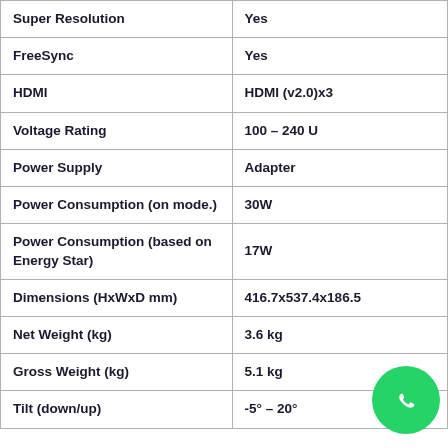| Feature | Value |
| --- | --- |
| Super Resolution | Yes |
| FreeSync | Yes |
| HDMI | HDMI (v2.0)x3 |
| Voltage Rating | 100 – 240 U |
| Power Supply | Adapter |
| Power Consumption (on mode.) | 30W |
| Power Consumption (based on Energy Star) | 17W |
| Dimensions (HxWxD mm) | 416.7x537.4x186.5 |
| Net Weight (kg) | 3.6 kg |
| Gross Weight (kg) | 5.1 kg |
| Tilt (down/up) | -5° – 20° |